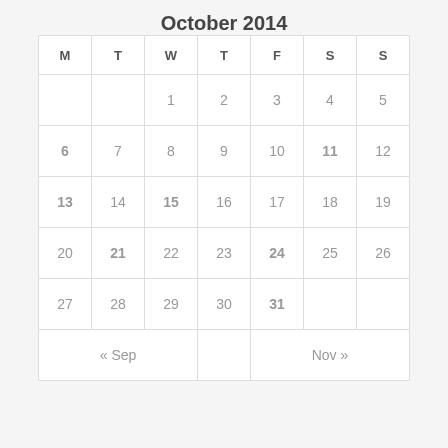October 2014
| M | T | W | T | F | S | S |
| --- | --- | --- | --- | --- | --- | --- |
|  |  | 1 | 2 | 3 | 4 | 5 |
| 6 | 7 | 8 | 9 | 10 | 11 | 12 |
| 13 | 14 | 15 | 16 | 17 | 18 | 19 |
| 20 | 21 | 22 | 23 | 24 | 25 | 26 |
| 27 | 28 | 29 | 30 | 31 |  |  |
| « Sep |  |  |  | Nov » |  |  |